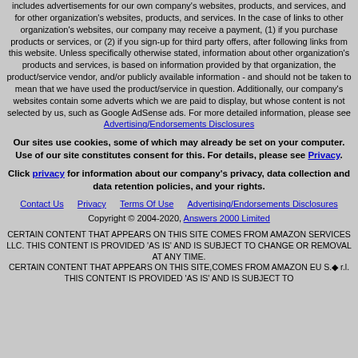includes advertisements for our own company's websites, products, and services, and for other organization's websites, products, and services. In the case of links to other organization's websites, our company may receive a payment, (1) if you purchase products or services, or (2) if you sign-up for third party offers, after following links from this website. Unless specifically otherwise stated, information about other organization's products and services, is based on information provided by that organization, the product/service vendor, and/or publicly available information - and should not be taken to mean that we have used the product/service in question. Additionally, our company's websites contain some adverts which we are paid to display, but whose content is not selected by us, such as Google AdSense ads. For more detailed information, please see Advertising/Endorsements Disclosures
Our sites use cookies, some of which may already be set on your computer. Use of our site constitutes consent for this. For details, please see Privacy.
Click privacy for information about our company's privacy, data collection and data retention policies, and your rights.
Contact Us   Privacy   Terms Of Use   Advertising/Endorsements Disclosures
Copyright © 2004-2020, Answers 2000 Limited
CERTAIN CONTENT THAT APPEARS ON THIS SITE COMES FROM AMAZON SERVICES LLC. THIS CONTENT IS PROVIDED 'AS IS' AND IS SUBJECT TO CHANGE OR REMOVAL AT ANY TIME. CERTAIN CONTENT THAT APPEARS ON THIS SITE,COMES FROM AMAZON EU S.à r.l. THIS CONTENT IS PROVIDED 'AS IS' AND IS SUBJECT TO